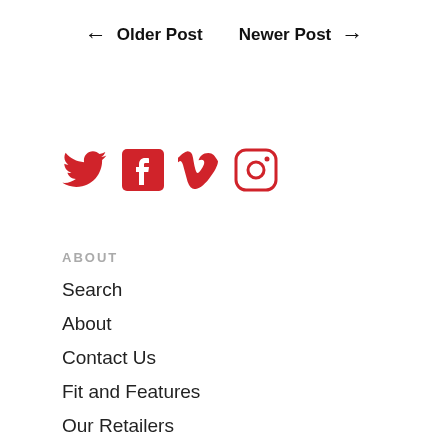← Older Post    Newer Post →
[Figure (illustration): Social media icons row: Twitter (bird), Facebook (F), Vimeo (V), Instagram (camera) — all in red/crimson color]
ABOUT
Search
About
Contact Us
Fit and Features
Our Retailers
Privacy Policy | Terms & Conditio…